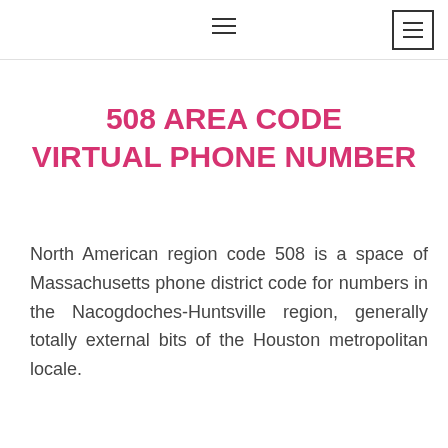☰  ☰
508 AREA CODE VIRTUAL PHONE NUMBER
North American region code 508 is a space of Massachusetts phone district code for numbers in the Nacogdoches-Huntsville region, generally totally external bits of the Houston metropolitan locale.